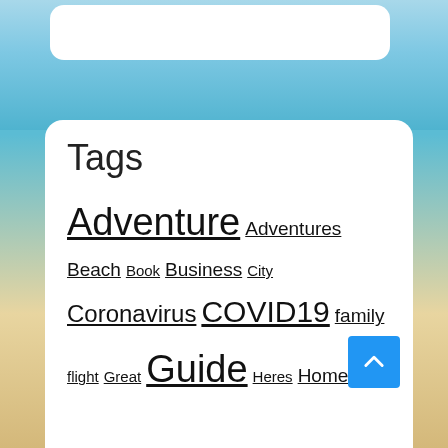Tags
Adventure Adventures Beach Book Business City Coronavirus COVID19 family flight Great Guide Heres Home Hotel Hotels Lodge Luxury News Online Outdoor Pandemic Park recreation Rental Rentals Report Resort Resorts Road Stay Summer Time Top Tour Tourism Tours Travel Trip Vacation Video virtual Weekly world yogyakarta